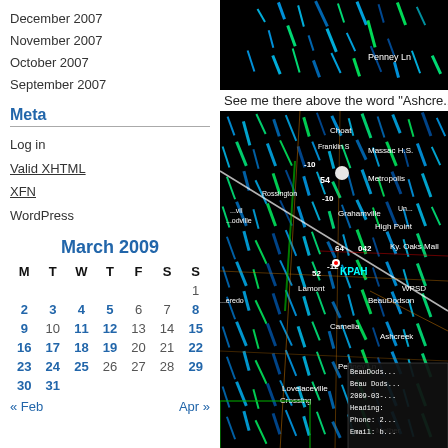December 2007
November 2007
October 2007
September 2007
Meta
Log in
Valid XHTML
XFN
WordPress
March 2009
| M | T | W | T | F | S | S |
| --- | --- | --- | --- | --- | --- | --- |
|  |  |  |  |  |  | 1 |
| 2 | 3 | 4 | 5 | 6 | 7 | 8 |
| 9 | 10 | 11 | 12 | 13 | 14 | 15 |
| 16 | 17 | 18 | 19 | 20 | 21 | 22 |
| 23 | 24 | 25 | 26 | 27 | 28 | 29 |
| 30 | 31 |  |  |  |  |  |
« Feb    Apr »
[Figure (photo): Radar map screenshot showing area around KPAH, top portion with Penney Ln label on dark background]
See me there above the word "Ashcre...
[Figure (photo): Radar map screenshot showing KPAH area with locations: Choat, Franklin S, Massac H.S., Metropolis, Rossington, Grahamville, High Point, Ky. Oaks Mall, KPAH, Lamont, BeauDodson, WPSD, Camelia, Ashcreek, Penney Ln, Lovelaceville Crossing, Melber. Info box shows BeauDods..., Beau Dods..., 2009-03-..., Heading:, Phone: 2..., Email: b...]